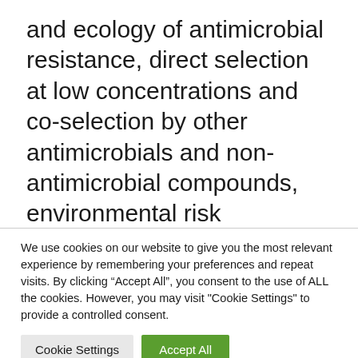and ecology of antimicrobial resistance, direct selection at low concentrations and co-selection by other antimicrobials and non-antimicrobial compounds, environmental risk assessment, and developing and validating the novel ‘SELECT’ method for rapid determination of selective concentrations of antibiotics and environmental surveillance of antimicrobial
We use cookies on our website to give you the most relevant experience by remembering your preferences and repeat visits. By clicking “Accept All”, you consent to the use of ALL the cookies. However, you may visit "Cookie Settings" to provide a controlled consent.